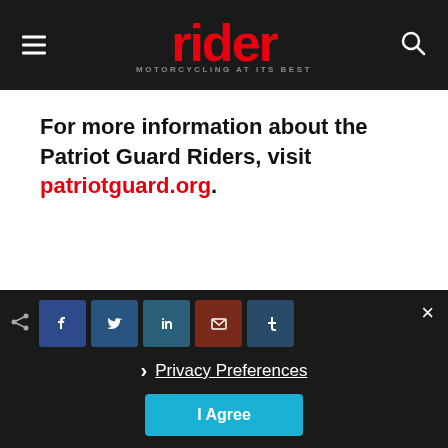rider — MOTORCYCLING AT ITS BEST
For more information about the Patriot Guard Riders, visit patriotguard.org.
TAGS  Motorcycle Rallies & Clubs
[Figure (screenshot): Social share bar with Facebook, Twitter, LinkedIn, email, Tumblr icons and a Privacy Preferences / I Agree cookie consent overlay]